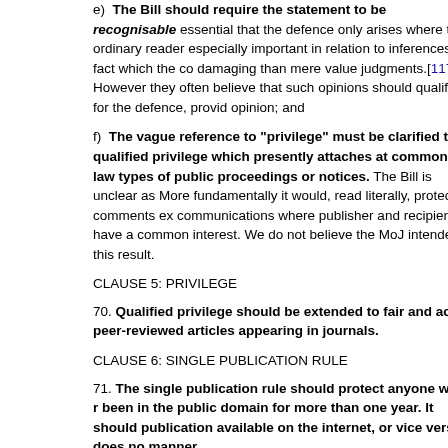e)  The Bill should require the statement to be recognisable essential that the defence only arises where the ordinary reader especially important in relation to inferences of fact which the co damaging than mere value judgments.[117] However they often believe that such opinions should qualify for the defence, provid opinion; and
f)  The vague reference to "privilege" must be clarified to m qualified privilege which presently attaches at common law types of public proceedings or notices. The Bill is unclear as More fundamentally it would, read literally, protect comments ex communications where publisher and recipient have a common interest. We do not believe the MoJ intended this result.
CLAUSE 5: PRIVILEGE
70. Qualified privilege should be extended to fair and accur peer-reviewed articles appearing in journals.
CLAUSE 6: SINGLE PUBLICATION RULE
71. The single publication rule should protect anyone who r been in the public domain for more than one year. It should publication available on the internet, or vice versa, does no manner.
CLAUSE 7: ACTION AGAINST A PERSON NOT DOMICILED I
72. The Bill should make clear that residents in England anc abroad provided there has been serious and substantial ha